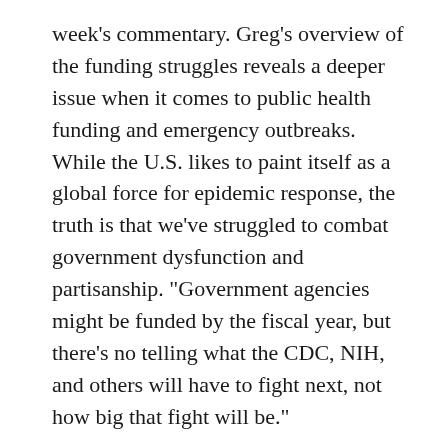week's commentary. Greg's overview of the funding struggles reveals a deeper issue when it comes to public health funding and emergency outbreaks. While the U.S. likes to paint itself as a global force for epidemic response, the truth is that we've struggled to combat government dysfunction and partisanship. “Government agencies might be funded by the fiscal year, but there’s no telling what the CDC, NIH, and others will have to fight next, not how big that fight will be.”
National Biosafety Systems – Case Studies
Researchers from the UPMC Center for Health Security released their report on case studies to analyze current biosafety approaches and regulations for Brazil, China, India, Israel, Pakistan, Kenya, Russia, Singapore, the United Kingdom, and the U.S. “In previous research, we found that there is